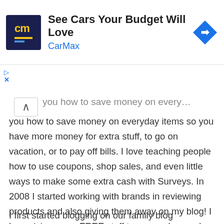[Figure (other): CarMax advertisement banner with logo showing 'cm' in yellow on dark navy background, ad title 'See Cars Your Budget Will Love', brand name 'CarMax' in blue, and a blue diamond-shaped navigation arrow icon on the right.]
you how to save money on everyday items so you have more money for extra stuff, to go on vacation, or to pay off bills.  I love teaching people how to use coupons, shop sales, and even little ways to make some extra cash with Surveys.  In 2008 I started working with brands in reviewing products and also giving them away on my blog!  I love giving away FREE stuff to my readers and get very excited when they are excited!
I first started blogging on our family blog